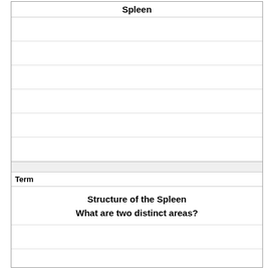Spleen
Term
Structure of the Spleen
What are two distinct areas?